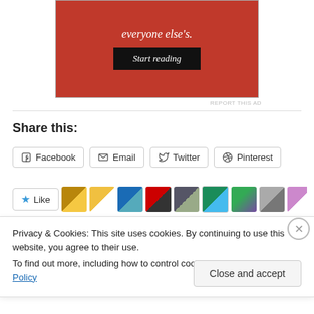[Figure (screenshot): Red advertisement banner with italic white text 'everyone else's.' and a dark 'Start reading' button]
REPORT THIS AD
Share this:
Facebook
Email
Twitter
Pinterest
[Figure (screenshot): Like button with star icon and a row of user avatar thumbnails]
Privacy & Cookies: This site uses cookies. By continuing to use this website, you agree to their use.
To find out more, including how to control cookies, see here: Cookie Policy
Close and accept